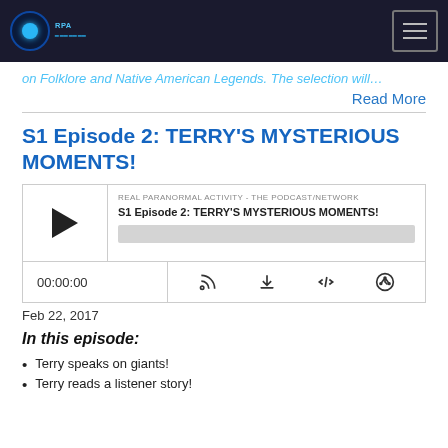RPA - Real Paranormal Activity - The Podcast/Network
on Folklore and Native American Legends. The selection will…
Read More
S1 Episode 2: TERRY'S MYSTERIOUS MOMENTS!
[Figure (other): Podcast audio player widget showing play button, episode title 'S1 Episode 2: TERRY'S MYSTERIOUS MOMENTS!', network name 'REAL PARANORMAL ACTIVITY - THE PODCAST/NETWORK', progress bar, timestamp 00:00:00, and controls for RSS, download, embed, and share.]
Feb 22, 2017
In this episode:
Terry speaks on giants!
Terry reads a listener story!